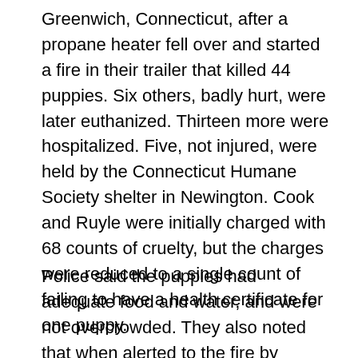Greenwich, Connecticut, after a propane heater fell over and started a fire in their trailer that killed 44 puppies. Six others, badly hurt, were later euthanized. Thirteen more were hospitalized. Five, not injured, were held by the Connecticut Humane Society shelter in Newington. Cook and Ruyle were initially charged with 68 counts of cruelty, but the charges were reduced to a single count of failing to have a health certificate for one puppy.
Police said the puppies had adequate food and water, and were not overcrowded. They also noted that when alerted to the fire by another trucker, Cook and Ruyle immediately stopped and tried to save the